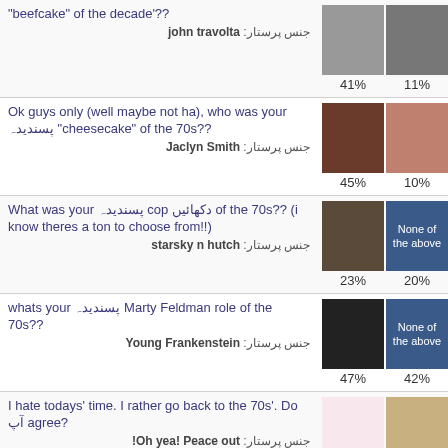"beefcake" of the decade'?? جنس پرستار: john travolta | 41% 11%
Ok guys only (well maybe not ha), who was your پسندیدہ "cheesecake" of the 70s?? جنس پرستار: Jaclyn Smith | 45% 10%
What was your پسندیدہ cop دکھائیں of the 70s?? (i know theres a ton to choose from!!) جنس پرستار: starsky n hutch | 23% 20%
whats your پسندیدہ Marty Feldman role of the 70s?? جنس پرستار: Young Frankenstein | 47% 42%
I hate todays' time. I rather go back to the 70s'. Do آپ agree? جنس پرستار: Oh yea! Peace out! | 90% 10%